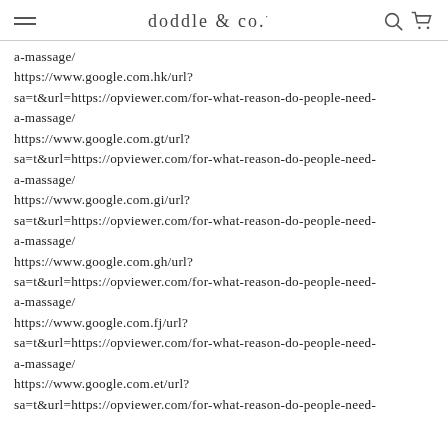doddle & co.
a-massage/
https://www.google.com.hk/url?
sa=t&url=https://opviewer.com/for-what-reason-do-people-need-a-massage/
https://www.google.com.gt/url?
sa=t&url=https://opviewer.com/for-what-reason-do-people-need-a-massage/
https://www.google.com.gi/url?
sa=t&url=https://opviewer.com/for-what-reason-do-people-need-a-massage/
https://www.google.com.gh/url?
sa=t&url=https://opviewer.com/for-what-reason-do-people-need-a-massage/
https://www.google.com.fj/url?
sa=t&url=https://opviewer.com/for-what-reason-do-people-need-a-massage/
https://www.google.com.et/url?
sa=t&url=https://opviewer.com/for-what-reason-do-people-need-